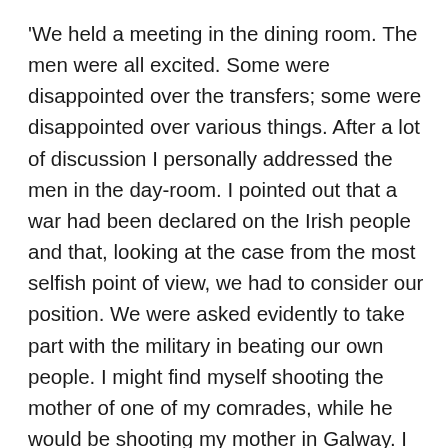'We held a meeting in the dining room. The men were all excited. Some were disappointed over the transfers; some were disappointed over various things. After a lot of discussion I personally addressed the men in the day-room. I pointed out that a war had been declared on the Irish people and that, looking at the case from the most selfish point of view, we had to consider our position. We were asked evidently to take part with the military in beating our own people. I might find myself shooting the mother of one of my comrades, while he would be shooting my mother in Galway. I pointed out that in a war one of two things must happen. We had either to win or lose. I assumed that we would win the war with the assistance of the British military. When we had defeated our own people, the British military would return to their own country and we would remain with our own people